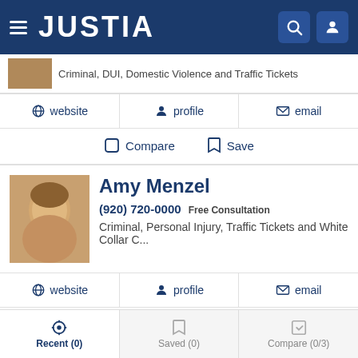JUSTIA
Criminal, DUI, Domestic Violence and Traffic Tickets
website  profile  email
Compare  Save
Amy Menzel
(920) 720-0000 Free Consultation
Criminal, Personal Injury, Traffic Tickets and White Collar C...
website  profile  email
Compare  Save
Tyler Fredrickson
Recent (0)  Saved (0)  Compare (0/3)